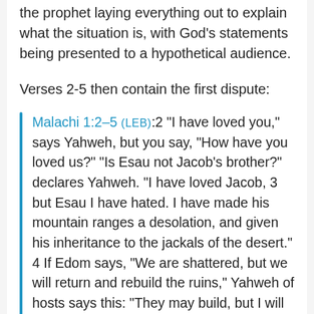the prophet laying everything out to explain what the situation is, with God's statements being presented to a hypothetical audience.
Verses 2-5 then contain the first dispute:
Malachi 1:2–5 (LEB):2 “I have loved you,” says Yahweh, but you say, “How have you loved us?” “Is Esau not Jacob’s brother?” declares Yahweh. “I have loved Jacob, 3 but Esau I have hated. I have made his mountain ranges a desolation, and given his inheritance to the jackals of the desert.” 4 If Edom says, “We are shattered, but we will return and rebuild the ruins,” Yahweh of hosts says this: “They may build, but I will tear down; and they will be called a territory of wickedness, and the people with whom Yahweh is angry forever.” 5 Your eyes will